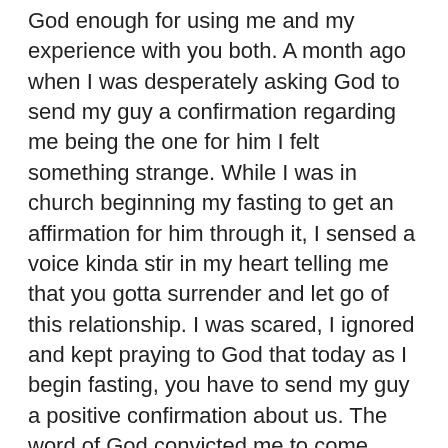God enough for using me and my experience with you both. A month ago when I was desperately asking God to send my guy a confirmation regarding me being the one for him I felt something strange. While I was in church beginning my fasting to get an affirmation for him through it, I sensed a voice kinda stir in my heart telling me that you gotta surrender and let go of this relationship. I was scared, I ignored and kept praying to God that today as I begin fasting, you have to send my guy a positive confirmation about us. The word of God convicted me to come before God and give all that I have at altar. Everything that I have to be surrendered, and holy spirit made me confess that Lord, I can't leave this guy as I love him, but if you want to separate us you do it. I lay m desire down! As I got out of church.. I called texted him and he seemed distant. I know what had happened and he told